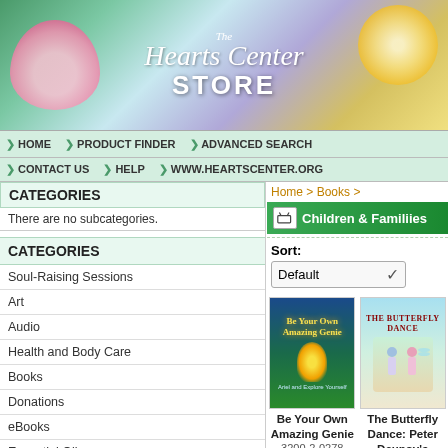[Figure (illustration): The Hearts Center STORE banner with lotus flower on left and glowing rose on right, colorful gradient background]
HOME | PRODUCT FINDER | ADVANCED SEARCH
CONTACT US | HELP | WWW.HEARTSCENTER.ORG
CATEGORIES
There are no subcategories.
CATEGORIES
Soul-Raising Sessions
Art
Audio
Health and Body Care
Books
Donations
eBooks
Essential Oils
Events
Gems and Minerals
Home > Books >
Children & Familiies
Sort: Default
[Figure (photo): Book cover: Be Your Own Amazing Genie — dark green/blue background with glowing genie figure]
Be Your Own Amazing Genie
3200-2-0278
[Figure (photo): Book cover: The Butterfly Dance: Peter Deunov's Paneurhythmy — light blue/green background with children figures]
The Butterfly Dance: Peter Deunov's Paneurhythmy
Paneurhythmy